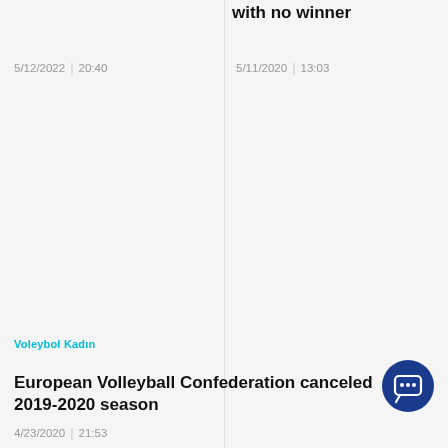with no winner
5/12/2022 | 20:40
5/11/2020 | 13:03
Voleybol Kadın
European Volleyball Confederation canceled 2019-2020 season
4/23/2020 | 21:53